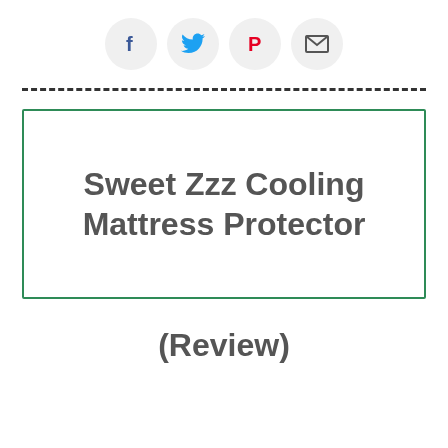[Figure (infographic): Social share icons: Facebook (blue f), Twitter (blue bird), Pinterest (red P), Email (envelope)]
Sweet Zzz Cooling Mattress Protector
(Review)